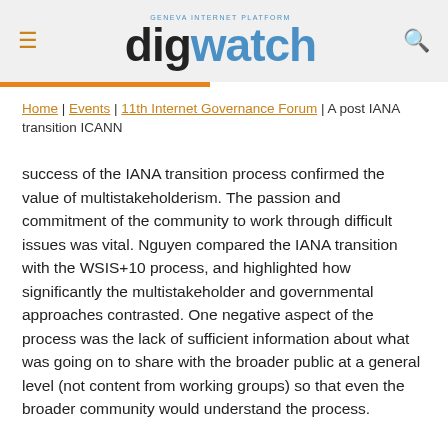digwatch — GENEVA INTERNET PLATFORM
Home | Events | 11th Internet Governance Forum | A post IANA transition ICANN
success of the IANA transition process confirmed the value of multistakeholderism. The passion and commitment of the community to work through difficult issues was vital. Nguyen compared the IANA transition with the WSIS+10 process, and highlighted how significantly the multistakeholder and governmental approaches contrasted. One negative aspect of the process was the lack of sufficient information about what was going on to share with the broader public at a general level (not content from working groups) so that even the broader community would understand the process.